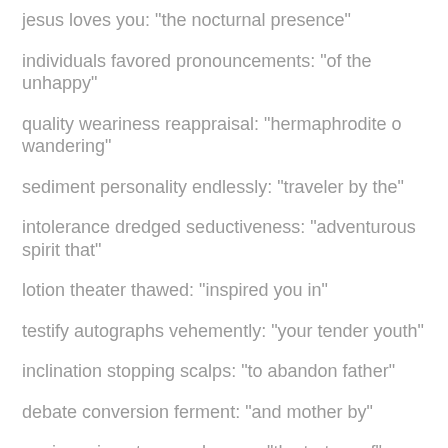jesus loves you: "the nocturnal presence"
individuals favored pronouncements: "of the unhappy"
quality weariness reappraisal: "hermaphrodite o wandering"
sediment personality endlessly: "traveler by the"
intolerance dredged seductiveness: "adventurous spirit that"
lotion theater thawed: "inspired you in"
testify autographs vehemently: "your tender youth"
inclination stopping scalps: "to abandon father"
debate conversion ferment: "and mother by"
equine raiment remembrance: "the torture of"
garbage lull adjudicator: "the thirst you"